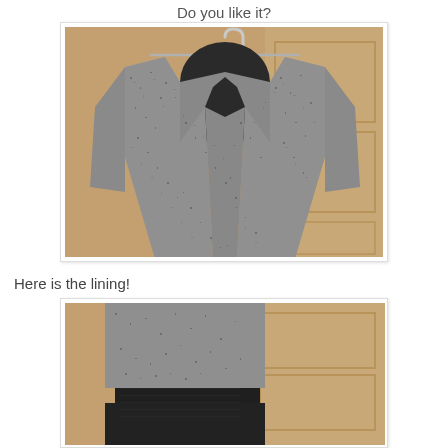Do you like it?
[Figure (photo): A tweed/speckled blazer jacket hung on a mannequin/dress form on a hanger, photographed indoors against a door background. The jacket has a black and white/grey mottled pattern with a dark lining visible at the collar.]
Here is the lining!
[Figure (photo): A close-up or additional photo of the jacket showing the lining detail, taken indoors against a similar door background.]